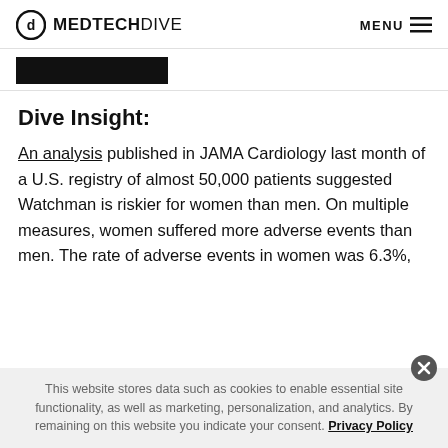MEDTECHDIVE | MENU
[Figure (other): Black rectangular banner/bar below the site header]
Dive Insight:
An analysis published in JAMA Cardiology last month of a U.S. registry of almost 50,000 patients suggested Watchman is riskier for women than men. On multiple measures, women suffered more adverse events than men. The rate of adverse events in women was 6.3%,
This website stores data such as cookies to enable essential site functionality, as well as marketing, personalization, and analytics. By remaining on this website you indicate your consent. Privacy Policy